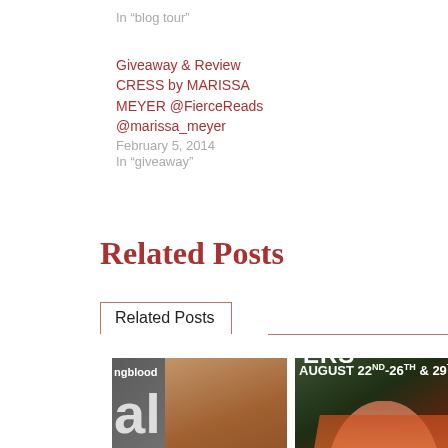In “blog tour”
Giveaway & Review CRESS by MARISSA MEYER @FierceReads @marissa_meyer
February 5, 2014
In “giveaway”
Related Posts
[Figure (other): Related Posts widget box with tab label 'Related Posts' and two book cover images below]
[Figure (photo): Book cover with large text showing 'ngblood', 'al', 'art', 'ust 22-25' with a woman with brown hair]
[Figure (illustration): Comic book style image showing a screaming woman with red hair; header text reads 'AUGUST 22ND-26TH & 29TH-S' and 'ERS']